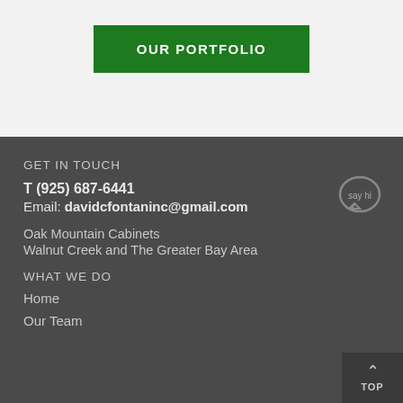OUR PORTFOLIO
GET IN TOUCH
T (925) 687-6441
Email: davidcfontaninc@gmail.com
Oak Mountain Cabinets
Walnut Creek and The Greater Bay Area
WHAT WE DO
Home
Our Team
[Figure (illustration): Say hi speech bubble icon]
[Figure (illustration): TOP button with upward arrow]